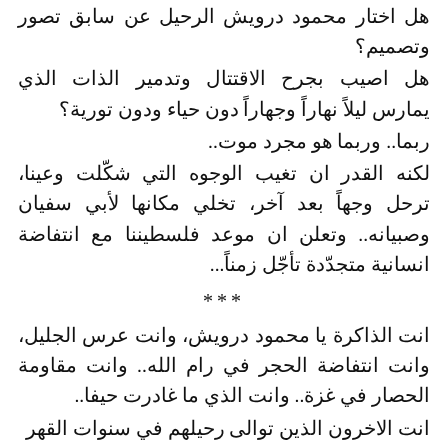هل اختار محمود درويش الرحيل عن سابق تصور وتصميم؟
هل اصيب بجرح الاقتتال وتدمير الذات الذي يمارس ليلاً نهاراً وجهاراً دون حياء ودون تورية؟
ربما.. وربما هو مجرد موت..
لكنه القدر ان تغيب الوجوه التي شكّلت وعينا، ترحل وجهاً بعد آخر، تخلي مكانها لأبي سفيان وصبيانه.. وتعلن ان موعد فلسطيننا مع انتفاضة انسانية متجدّدة تأجّل زمناً...
***
انت الذاكرة يا محمود درويش، وانت عرس الجليل، وانت انتفاضة الحجر في رام الله.. وانت مقاومة الحصار في غزة.. وانت الذي ما غادرت حيفا..
انت الاخرون الذين توالى رحيلهم في سنوات القهر